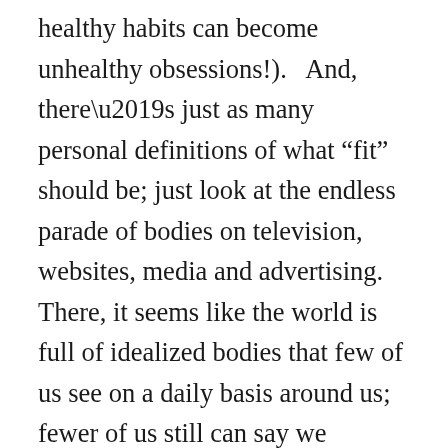healthy habits can become unhealthy obsessions!).  And, there’s just as many personal definitions of what “fit” should be; just look at the endless parade of bodies on television, websites, media and advertising.  There, it seems like the world is full of idealized bodies that few of us see on a daily basis around us; fewer of us still can say we approach those measures of physical beauty.  Perhaps for you as well, those images influenced my own goals and expectations, and not always constructively.  But before any of us can find the “how” that gets us the results we seek – perhaps we need to spend some serious time